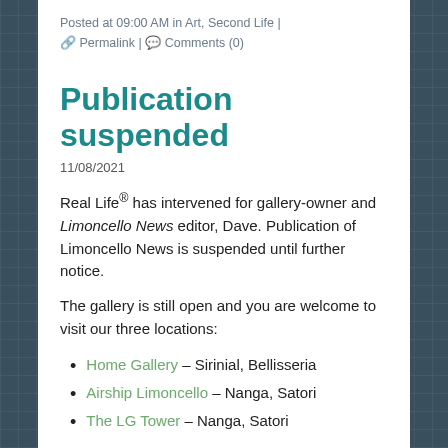Posted at 09:00 AM in Art, Second Life | 🔗 Permalink | 💬 Comments (0)
Publication suspended
11/08/2021
Real Life® has intervened for gallery-owner and Limoncello News editor, Dave. Publication of Limoncello News is suspended until further notice.
The gallery is still open and you are welcome to visit our three locations:
Home Gallery – Sirinial, Bellisseria
Airship Limoncello – Nanga, Satori
The LG Tower – Nanga, Satori